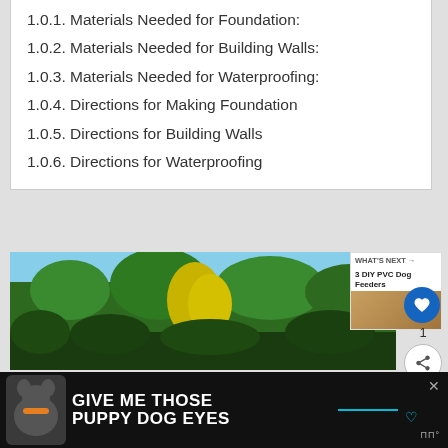1.0.1. Materials Needed for Foundation:
1.0.2. Materials Needed for Building Walls:
1.0.3. Materials Needed for Waterproofing:
1.0.4. Directions for Making Foundation
1.0.5. Directions for Building Walls
1.0.6. Directions for Waterproofing
[Figure (photo): A nature/outdoor scene showing trees including a yellow-leaved tree against a blue sky]
[Figure (screenshot): A 'What's Next' sidebar widget showing '3 DIY PVC Dog Feeders' with a thumbnail of puppies]
[Figure (photo): Advertisement banner with dark background showing a dog and text 'GIVE ME THOSE PUPPY DOG EYES']